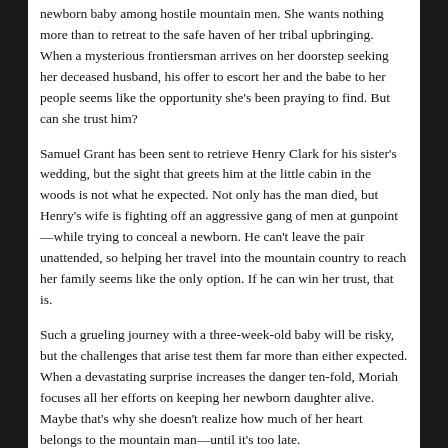newborn baby among hostile mountain men. She wants nothing more than to retreat to the safe haven of her tribal upbringing. When a mysterious frontiersman arrives on her doorstep seeking her deceased husband, his offer to escort her and the babe to her people seems like the opportunity she's been praying to find. But can she trust him?
Samuel Grant has been sent to retrieve Henry Clark for his sister's wedding, but the sight that greets him at the little cabin in the woods is not what he expected. Not only has the man died, but Henry's wife is fighting off an aggressive gang of men at gunpoint—while trying to conceal a newborn. He can't leave the pair unattended, so helping her travel into the mountain country to reach her family seems like the only option. If he can win her trust, that is.
Such a grueling journey with a three-week-old baby will be risky, but the challenges that arise test them far more than either expected. When a devastating surprise increases the danger ten-fold, Moriah focuses all her efforts on keeping her newborn daughter alive. Maybe that's why she doesn't realize how much of her heart belongs to the mountain man—until it's too late.
Published in , Canada , Foreign Setting (Not USA or England), Traveling , 1860s , 1865-1880 (US Reconstruction) , Outdoorsman , Baby, Biracial, Widowed , Protector Falls for the One in Peril , Beller-Misty on March 26, 2019 by ihfi
Between Two Shores by Jocelyn